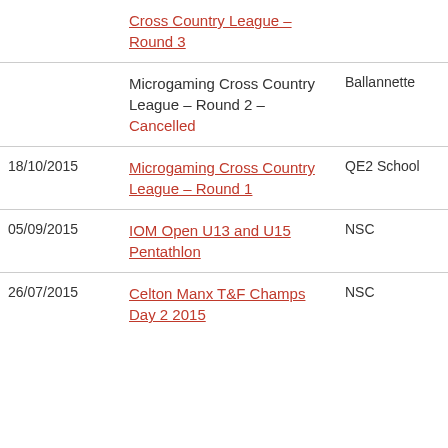| Date | Event | Venue | Organiser |
| --- | --- | --- | --- |
|  | Cross Country League – Round 3 |  |  |
|  | Microgaming Cross Country League – Round 2 – Cancelled | Ballannette | Manx Harriers |
| 18/10/2015 | Microgaming Cross Country League – Round 1 | QE2 School | WAC |
| 05/09/2015 | IOM Open U13 and U15 Pentathlon | NSC | IOMAA |
| 26/07/2015 | Celton Manx T&F Champs Day 2 2015 | NSC | IOMAA |